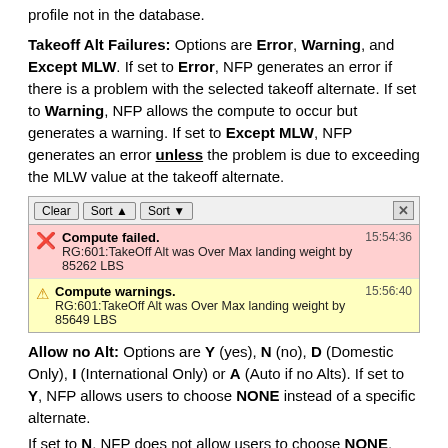profile not in the database.
Takeoff Alt Failures: Options are Error, Warning, and Except MLW. If set to Error, NFP generates an error if there is a problem with the selected takeoff alternate. If set to Warning, NFP allows the compute to occur but generates a warning. If set to Except MLW, NFP generates an error unless the problem is due to exceeding the MLW value at the takeoff alternate.
[Figure (screenshot): Screenshot of a compute failure and warning notification panel with toolbar (Clear, Sort up, Sort down buttons and close X). First row shows red background: 'Compute failed.' at 15:54:36, detail: 'RG:601:TakeOff Alt was Over Max landing weight by 85262 LBS'. Second row shows yellow background: 'Compute warnings.' at 15:56:40, detail: 'RG:601:TakeOff Alt was Over Max landing weight by 85649 LBS'.]
Allow no Alt: Options are Y (yes), N (no), D (Domestic Only), I (International Only) or A (Auto if no Alts). If set to Y, NFP allows users to choose NONE instead of a specific alternate.
If set to N, NFP does not allow users to choose NONE.